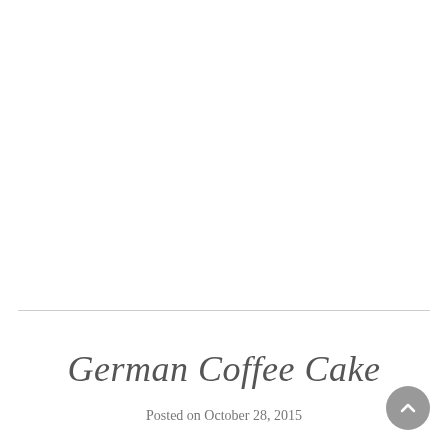German Coffee Cake
Posted on October 28, 2015